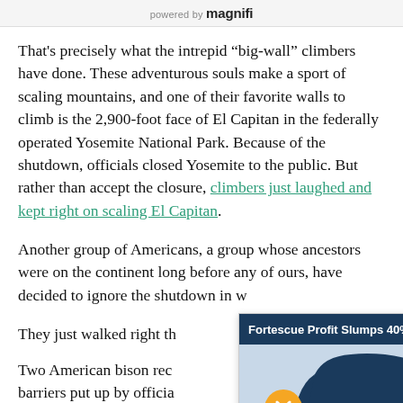powered by magnifi
That's precisely what the intrepid “big-wall” climbers have done. These adventurous souls make a sport of scaling mountains, and one of their favorite walls to climb is the 2,900-foot face of El Capitan in the federally operated Yosemite National Park. Because of the shutdown, officials closed Yosemite to the public. But rather than accept the closure, climbers just laughed and kept right on scaling El Capitan.
Another group of Americans, a group whose ancestors were on the continent long before any of ours, have decided to ignore the shutdown in w…
They just walked right th…
Two American bison rec… barriers put up by officia… National Park. Being the… the bison didn’t let the fe…
[Figure (screenshot): Ad overlay: Fortescue Profit Slumps 40% Amid Reco... with FMG logo on Australia map shape, close button, mute button]